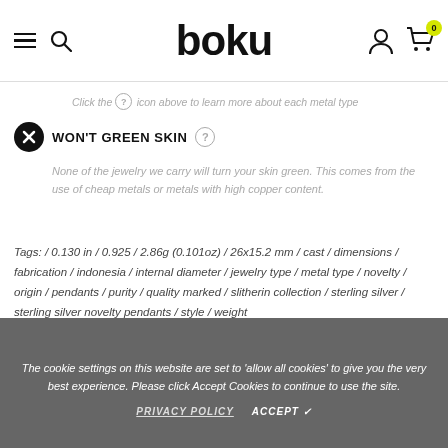boku — navigation bar with hamburger, search, user, and cart icons
Click the ? icon above to learn more about each metal type
WON'T GREEN SKIN
None of the jewelry we carry will turn your skin green. This comes from the use of cheap metals or metals with high copper content.
Tags: / 0.130 in / 0.925 / 2.86g (0.101oz) / 26x15.2 mm / cast / dimensions / fabrication / indonesia / internal diameter / jewelry type / metal type / novelty / origin / pendants / purity / quality marked / slitherin collection / sterling silver / sterling silver novelty pendants / style / weight
ADDITIONAL DETAILS
The cookie settings on this website are set to 'allow all cookies' to give you the very best experience. Please click Accept Cookies to continue to use the site.
PRIVACY POLICY   ACCEPT ✓